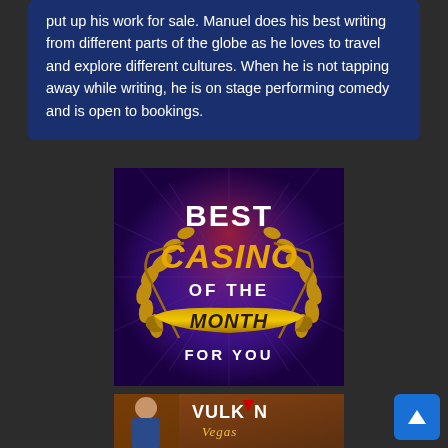put up his work for sale. Manuel does his best writing from different parts of the globe as he loves to travel and explore different cultures. When he is not tapping away while writing, he is on stage performing comedy and is open to bookings.
[Figure (illustration): Best Casino of the Month For You - promotional badge with gold laurel wreath on purple/dark background with decorative star burst pattern]
[Figure (illustration): Vulkan Vegas casino advertisement showing a man and the Vulkan Vegas logo]